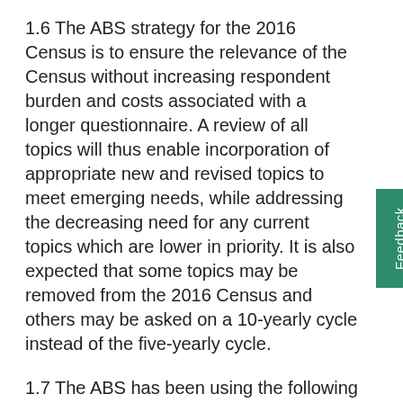1.6 The ABS strategy for the 2016 Census is to ensure the relevance of the Census without increasing respondent burden and costs associated with a longer questionnaire. A review of all topics will thus enable incorporation of appropriate new and revised topics to meet emerging needs, while addressing the decreasing need for any current topics which are lower in priority. It is also expected that some topics may be removed from the 2016 Census and others may be asked on a 10-yearly cycle instead of the five-yearly cycle.
1.7 The ABS has been using the following set of criteria to finalise recommendations. These criteria were also used to make the initial